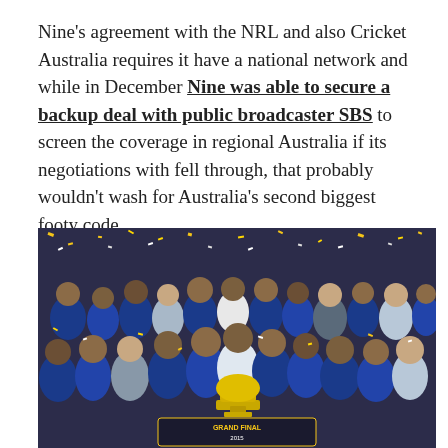Nine's agreement with the NRL and also Cricket Australia requires it have a national network and while in December Nine was able to secure a backup deal with public broadcaster SBS to screen the coverage in regional Australia if its negotiations with fell through, that probably wouldn't wash for Australia's second biggest footy code.
[Figure (photo): A large group of rugby league players and staff celebrating a grand final victory, surrounded by confetti. Players wear blue and gold uniforms. A trophy is visible in the centre foreground.]